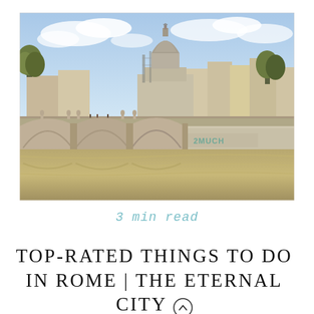[Figure (photo): Photograph of Rome showing the Tiber River with a stone bridge featuring multiple arches in the foreground, St. Peter's Basilica dome visible in the background, with historic buildings along the riverbank and graffiti reading '2MUCH' on the bridge wall. Trees and blue cloudy sky visible.]
3 min read
TOP-RATED THINGS TO DO IN ROME | THE ETERNAL CITY